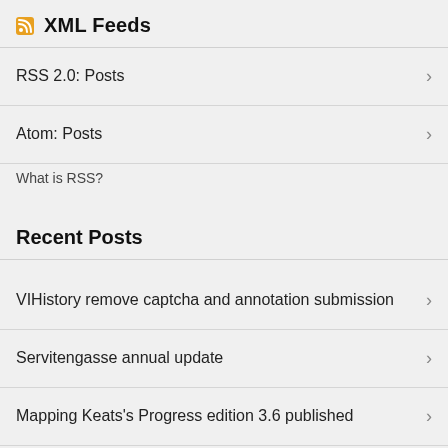XML Feeds
RSS 2.0: Posts
Atom: Posts
What is RSS?
Recent Posts
VIHistory remove captcha and annotation submission
Servitengasse annual update
Mapping Keats's Progress edition 3.6 published
Mapping Keats's Progress edition 3.5 published